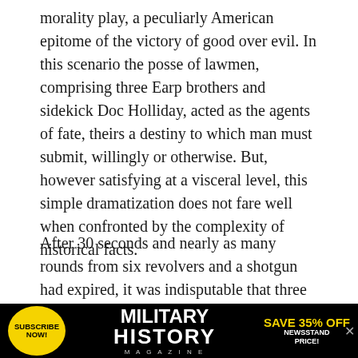morality play, a peculiarly American epitome of the victory of good over evil. In this scenario the posse of lawmen, comprising three Earp brothers and sidekick Doc Holliday, acted as the agents of fate, theirs a destiny to which man must submit, willingly or otherwise. But, however satisfying at a visceral level, this simple dramatization does not fare well when confronted by the complexity of historical facts.
After 30 seconds and nearly as many rounds from six revolvers and a shotgun had expired, it was indisputable that three men, Billy Clanton and Frank and Tom McLaury, so-called Cowboys— an epithet for rustlers and stage robbers in southern Arizona Territory—lay dead or dying, their wounds
[Figure (other): Advertisement banner for Military History Magazine. Black background with yellow circle on left reading SUBSCRIBE NOW!, center text reads MILITARY HISTORY MAGAZINE in white bold letters, right side reads SAVE 35% OFF NEWSSTAND PRICE! in yellow bold text.]